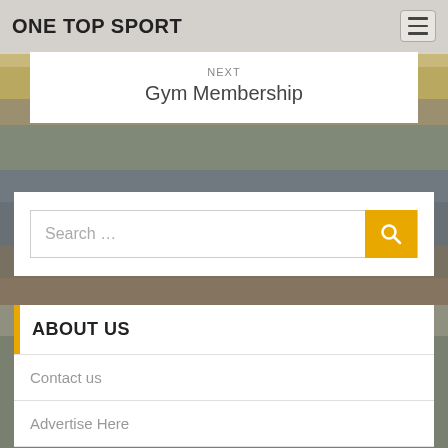ONE TOP SPORT
NEXT
Gym Membership
[Figure (screenshot): Search bar with placeholder text 'Search ...' and a yellow search button]
ABOUT US
Contact us
Advertise Here